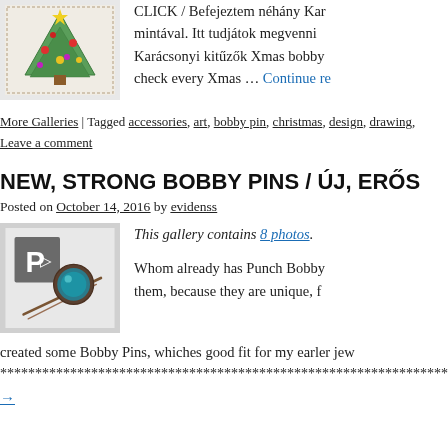[Figure (photo): Photo of a Christmas tree embroidered pin/brooch on white fabric with colorful decorations]
CLICK / Befejeztem néhány Kar... mintával. Itt tudjátok megvenni Karácsonyi kitűzők Xmas bobby check every Xmas … Continue re
More Galleries | Tagged accessories, art, bobby pin, christmas, design, drawing,
Leave a comment
NEW, STRONG BOBBY PINS / ÚJ, ERŐS
Posted on October 14, 2016 by evidenss
[Figure (photo): Photo of a bobby pin with a round decorative top featuring a teal/blue stone or gem, with a small P logo card behind it]
This gallery contains 8 photos.
Whom already has Punch Bobby them, because they are unique, f created some Bobby Pins, whiches good fit for my earler jew
************************************************************************ /Akine
→